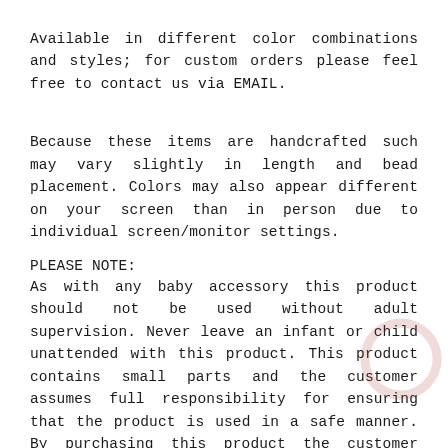Available in different color combinations and styles; for custom orders please feel free to contact us via EMAIL.
Because these items are handcrafted such may vary slightly in length and bead placement. Colors may also appear different on your screen than in person due to individual screen/monitor settings.
PLEASE NOTE:
As with any baby accessory this product should not be used without adult supervision. Never leave an infant or child unattended with this product. This product contains small parts and the customer assumes full responsibility for ensuring that the product is used in a safe manner. By purchasing this product the customer agrees that use of the product is entirely at the customer's own risk. CLG Embroideries, nor any of its agents, affiliates, or content providers shall be liable in any way for any direct, indirect, incidental, special, or consequential damages arising out of